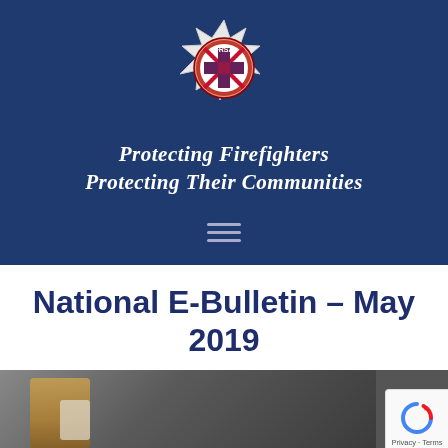[Figure (logo): FRSA (Fire and Rescue Staff Association) badge logo — circular badge with star/burst border, red ring with 'FRSA' text, union jack in center, centered on dark navy blue banner background]
Protecting Firefighters Protecting Their Communities
[Figure (infographic): Three horizontal lines (hamburger menu icon) in light blue-grey on dark navy background]
National E-Bulletin – May 2019
[Figure (photo): Partial photo of a firefighter in yellow helmet and protective gear, cropped at top and bottom]